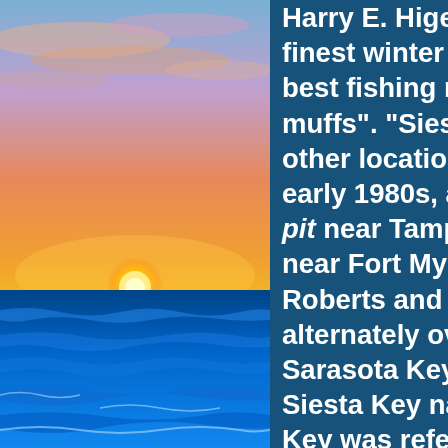[Figure (photo): Ocean sunset photo showing a colorful sky with orange, pink and blue hues, the sun setting on the horizon over the sea, with blue ocean waves in the foreground.]
Harry E. Higel on Jun 28, 1913 finest winter home location in a best fishing right at your door. muffs". "Siesta on the Gulf", th other locations on Siesta Key Fl early 1980s, amateur paleontolo pit near Tampa. Shell pits were near Fort Myers. Harry Higel, Roberts and E. M. Arbogast, ph alternately over the years as Ch Sarasota Key, and finally Siesta Siesta Key nationally as an “ide Key was referred to as a tropica became the first of Sarasota’s